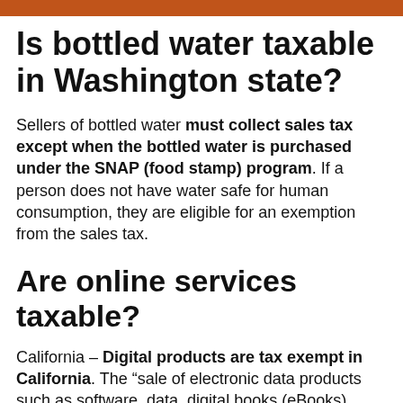Is bottled water taxable in Washington state?
Sellers of bottled water must collect sales tax except when the bottled water is purchased under the SNAP (food stamp) program. If a person does not have water safe for human consumption, they are eligible for an exemption from the sales tax.
Are online services taxable?
California – Digital products are tax exempt in California. The “sale of electronic data products such as software, data, digital books (eBooks), mobile applications and digital images is generally